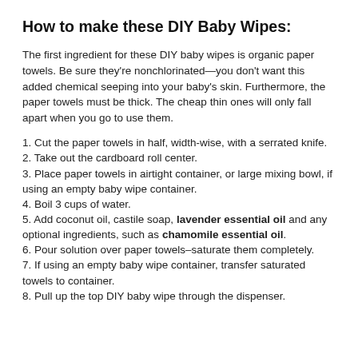How to make these DIY Baby Wipes:
The first ingredient for these DIY baby wipes is organic paper towels. Be sure they're nonchlorinated—you don't want this added chemical seeping into your baby's skin. Furthermore, the paper towels must be thick. The cheap thin ones will only fall apart when you go to use them.
1. Cut the paper towels in half, width-wise, with a serrated knife.
2. Take out the cardboard roll center.
3. Place paper towels in airtight container, or large mixing bowl, if using an empty baby wipe container.
4. Boil 3 cups of water.
5. Add coconut oil, castile soap, lavender essential oil and any optional ingredients, such as chamomile essential oil.
6. Pour solution over paper towels–saturate them completely.
7. If using an empty baby wipe container, transfer saturated towels to container.
8. Pull up the top DIY baby wipe through the dispenser.